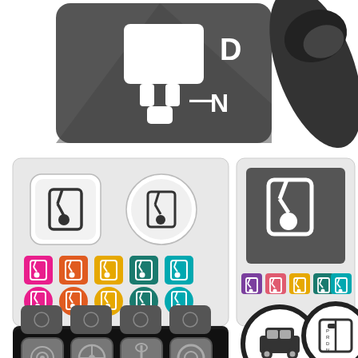[Figure (illustration): Automotive transmission/gear selector icons and UI elements. Top: dark rounded rectangle sign with plug/charger icon and gear positions D and N labeled. Top right: rolled dark rubber/plastic tube. Middle left: light gray panel showing gear shift icons in square and circle button styles, plus colored square and circle buttons in pink, orange, yellow, teal, cyan. Middle right: dark gray panel with large gear shift icon, plus colored square buttons in purple, salmon, orange, green, teal showing gear icon. Bottom left: black panel with 8 rounded square metallic buttons showing car/auto service icons. Bottom right: two large circle map pins - one with car (sedan) icon, one with gear selector/transmission icon showing P R D N positions.]